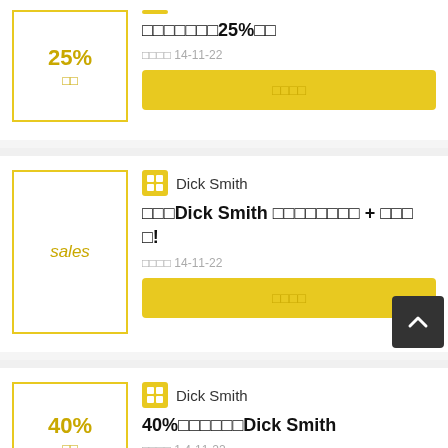[Figure (screenshot): First deal card: 25% off coupon image on left, deal title with 25% in Japanese characters, date 14-11-22, yellow button]
[Figure (screenshot): Second deal card: 'sales' text image on left, Dick Smith store icon, Dick Smith deal title in Japanese characters, date 14-11-22, yellow button]
[Figure (screenshot): Third deal card: 40% off coupon image on left, Dick Smith store icon, 40% Dick Smith deal title in Japanese characters, date 14-11-22 (partial)]